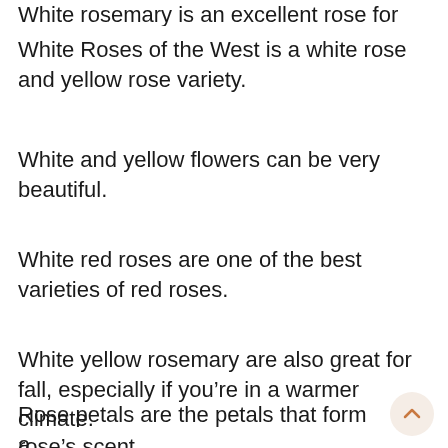White rosemary is an excellent rose for fall.
White Roses of the West is a white rose and yellow rose variety.
White and yellow flowers can be very beautiful.
White red roses are one of the best varieties of red roses.
White yellow rosemary are also great for fall, especially if you’re in a warmer climate.
Rose petals are the petals that form a rose’s scent.